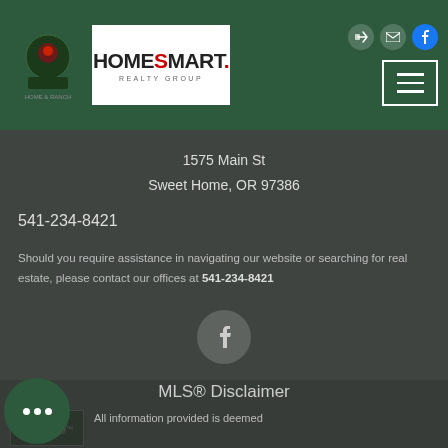[Figure (logo): Green header bar with red/dark logo on left, HomeSmart Realty Group logo on white background, icons and hamburger menu on right]
1575 Main St
Sweet Home, OR 97386
541-234-8421
Should you require assistance in navigating our website or searching for real estate, please contact our offices at 541-234-8421
[Figure (illustration): Facebook icon in circular grey button]
MLS® Disclaimer
[Figure (logo): RMLS logo]
All information provided is deemed